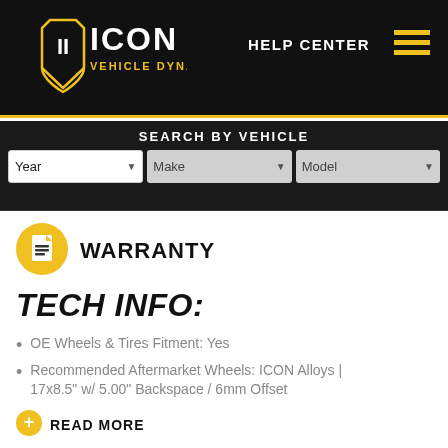[Figure (logo): ICON Vehicle Dynamics shield logo with 'ICON' text in white and 'VEHICLE DYNAMICS.' in yellow]
HELP CENTER
SEARCH BY VEHICLE
Year  Make  Model (dropdown selectors)
[Figure (illustration): Yellow circle with white document/file icon]
WARRANTY
TECH INFO:
OE Wheels & Tires Fitment: Yes
Recommended Aftermarket Wheels: ICON Alloys | 17x8.5" w/ 5.00" Backspace / 6mm Offset
READ MORE